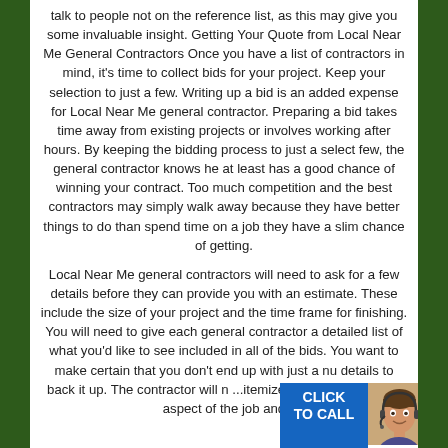talk to people not on the reference list, as this may give you some invaluable insight. Getting Your Quote from Local Near Me General Contractors Once you have a list of contractors in mind, it's time to collect bids for your project. Keep your selection to just a few. Writing up a bid is an added expense for Local Near Me general contractor. Preparing a bid takes time away from existing projects or involves working after hours. By keeping the bidding process to just a select few, the general contractor knows he at least has a good chance of winning your contract. Too much competition and the best contractors may simply walk away because they have better things to do than spend time on a job they have a slim chance of getting.
Local Near Me general contractors will need to ask for a few details before they can provide you with an estimate. These include the size of your project and the time frame for finishing. You will need to give each general contractor a detailed list of what you'd like to see included in all of the bids. You want to make certain that you don't end up with just a nu... details to back it up. The contractor will n... ...itemized list detailing every aspect of the job and...
[Figure (other): Click to Call button overlay with blue box showing CLICK TO CALL text and a headset-wearing person photo in bottom right corner]